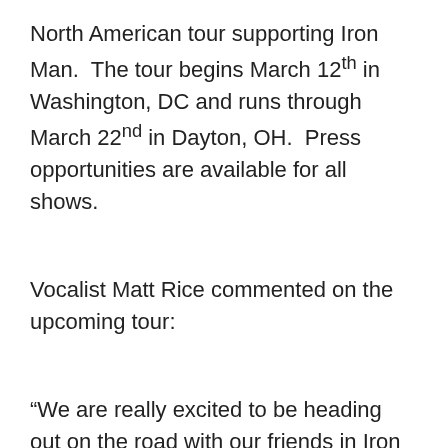North American tour supporting Iron Man. The tour begins March 12th in Washington, DC and runs through March 22nd in Dayton, OH. Press opportunities are available for all shows.
Vocalist Matt Rice commented on the upcoming tour:
“We are really excited to be heading out on the road with our friends in Iron Man and being able to bring our new music from our album to new ears. This is the first set of dates we have this year and we are currently working with our agent on future shows for this year. See you on the road”